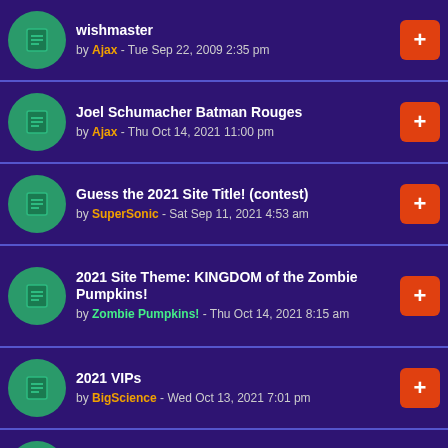wishmaster by Ajax - Tue Sep 22, 2009 2:35 pm
Joel Schumacher Batman Rouges by Ajax - Thu Oct 14, 2021 11:00 pm
Guess the 2021 Site Title! (contest) by SuperSonic - Sat Sep 11, 2021 4:53 am
2021 Site Theme: KINGDOM of the Zombie Pumpkins! by Zombie Pumpkins! - Thu Oct 14, 2021 8:15 am
2021 VIPs by BigScience - Wed Oct 13, 2021 7:01 pm
What We Do In The Shadows by Evil Gobi - Mon Oct 11, 2021 10:21 am